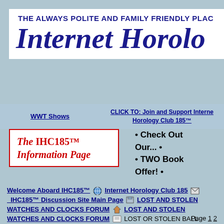THE ALWAYS POLITE AND FAMILY FRIENDLY PLAC
Internet Horolo
WWT Shows
CLICK TO: Join and Support Internet Horology Club 185™
The IHC185™ Information Page
• Check Out Our... • • TWO Book Offer! •
Welcome Aboard IHC185™  [globe]  Internet Horology Club 185  [icon]  IHC185™ Discussion Site Main Page  [icon]  LOST AND STOLEN WATCHES AND CLOCKS FORUM  [icon]  LOST AND STOLEN WATCHES AND CLOCKS FORUM  [icon]  LOST OR STOLEN BALL MODEL CASE, DISAPPEARED FROM THE CUSTODY OF USPS LETTER CARRIER!
Page 1 2